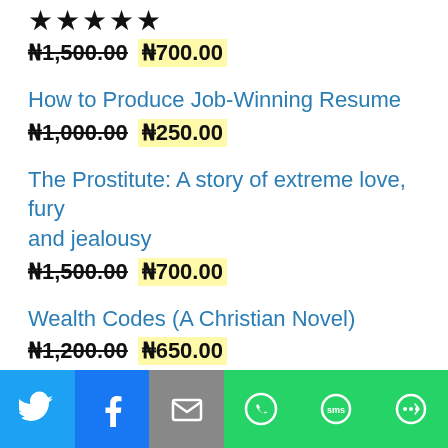★★★★★
₦1,500.00 ₦700.00
How to Produce Job-Winning Resume
₦1,000.00 ₦250.00
The Prostitute: A story of extreme love, fury and jealousy
₦1,500.00 ₦700.00
Wealth Codes (A Christian Novel)
₦1,200.00 ₦650.00
[Figure (infographic): Social share bar with Twitter, Facebook, Email, WhatsApp, SMS, and More buttons]